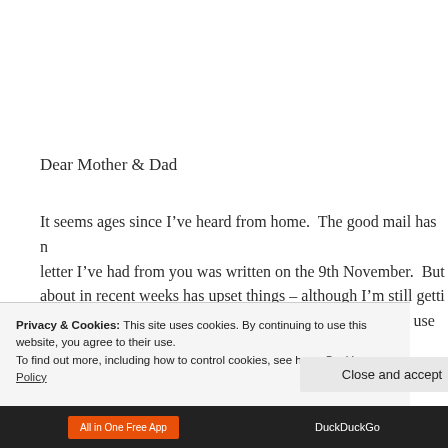Dear Mother & Dad
It seems ages since I’ve heard from home.  The good mail has n... letter I’ve had from you was written on the 9th November.  But ... about in recent weeks has upset things – although I’m still getti... Youngster and my other correspondents who continued to use th... have been able to sort things out but he went sick and the joker ...
Privacy & Cookies: This site uses cookies. By continuing to use this website, you agree to their use.
To find out more, including how to control cookies, see here: Cookie Policy
Close and accept